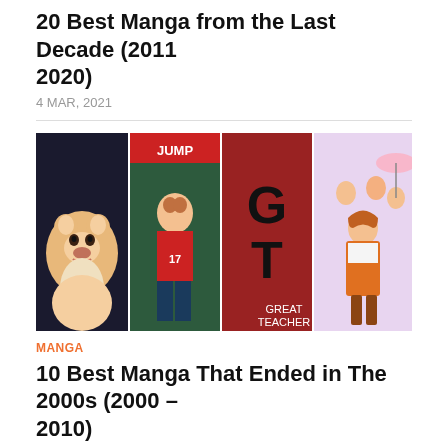20 Best Manga from the Last Decade (2011 2020)
4 MAR, 2021
[Figure (photo): Collage of four manga covers: a Shiba Inu dog character, a sports manga with a player in jersey #17, GTO (Great Teacher Onizuka) title art, and a shoujo manga with a girl in an orange dress]
MANGA
10 Best Manga That Ended in The 2000s (2000 – 2010)
23 FEB, 2021
[Figure (photo): Partial collage of manga covers showing Detective Conan / Case Closed characters on the left and a realistic-style manga character on the right]